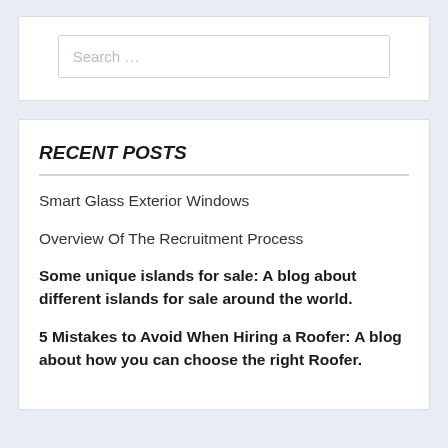[Figure (screenshot): Search input field with placeholder text 'Search ...']
RECENT POSTS
Smart Glass Exterior Windows
Overview Of The Recruitment Process
Some unique islands for sale: A blog about different islands for sale around the world.
5 Mistakes to Avoid When Hiring a Roofer: A blog about how you can choose the right Roofer.